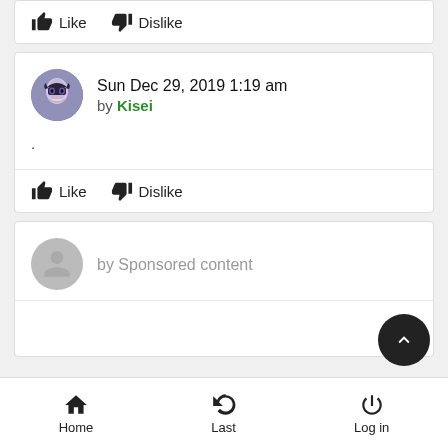[Figure (screenshot): Like and Dislike action bar at top of page (partially visible card)]
[Figure (screenshot): Comment post by Kisei dated Sun Dec 29, 2019 1:19 am with a single period as content and Like/Dislike actions]
[Figure (screenshot): Sponsored content post with grey avatar placeholder and by Sponsored content label]
[Figure (screenshot): Scroll to top circular button (dark)]
Home  Last  Log in